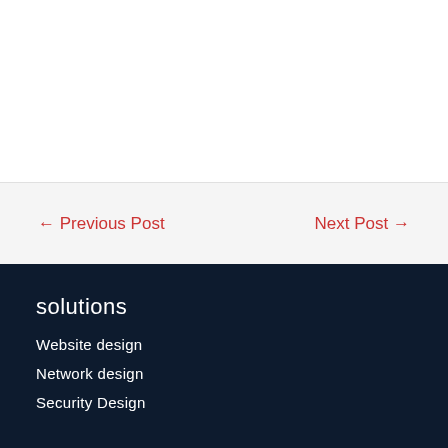← Previous Post
Next Post →
solutions
Website design
Network design
Security Design